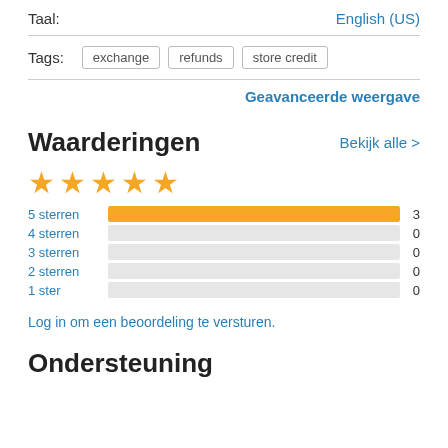Taal: English (US)
Tags: exchange refunds store credit
Geavanceerde weergave
Waarderingen
Bekijk alle >
[Figure (other): 5 filled yellow stars rating]
[Figure (bar-chart): Star ratings]
Log in om een beoordeling te versturen.
Ondersteuning